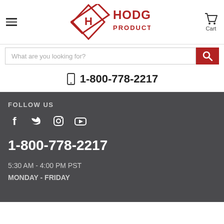[Figure (logo): Hodge Products Inc logo with diamond shape containing letter H and red text HODGE PRODUCTS INC]
What are you looking for?
1-800-778-2217
FOLLOW US
[Figure (infographic): Social media icons: Facebook, Twitter, Instagram, YouTube]
1-800-778-2217
5:30 AM - 4:00 PM PST
MONDAY - FRIDAY